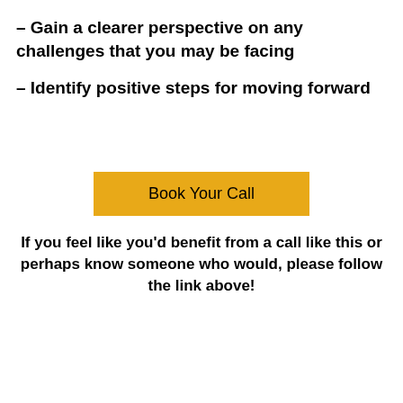– Gain a clearer perspective on any challenges that you may be facing
– Identify positive steps for moving forward
Book Your Call
If you feel like you'd benefit from a call like this or perhaps know someone who would, please follow the link above!